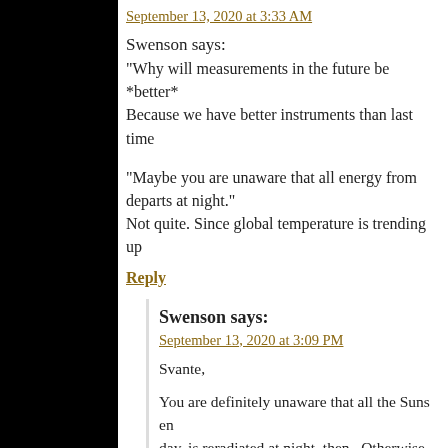September 13, 2020 at 3:33 AM
Swenson says:
“Why will measurements in the future be *better*… Because we have better instruments than last time…
“Maybe you are unaware that all energy from… departs at night.”
Not quite. Since global temperature is trending up…
Reply
Swenson says:
September 13, 2020 at 3:09 PM
Svante,
You are definitely unaware that all the Suns en… day, is reradiated at night, then. Otherwise, exposed on the surface would be hotter th… concrete structures, wouldnt they?